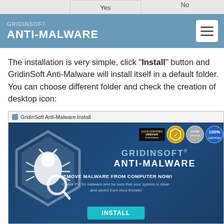GRIDINSOFT ANTI-MALWARE
The installation is very simple, click "Install" button and GridinSoft Anti-Malware will install itself in a default folder. You can choose different folder and check the creation of desktop icon:
[Figure (screenshot): GridinSoft Anti-Malware installer window showing the software logo with a bug icon in a hexagon, certification badges (OPSWAT Gold Certified Antimalware), the text GRIDINSOFT ANTI-MALWARE, REMOVE MALWARE FROM COMPUTER NOW!, Check PC for malware and be sure that your system is clean and saved from virus threats!, and an INSTALL button on a dark blue background.]